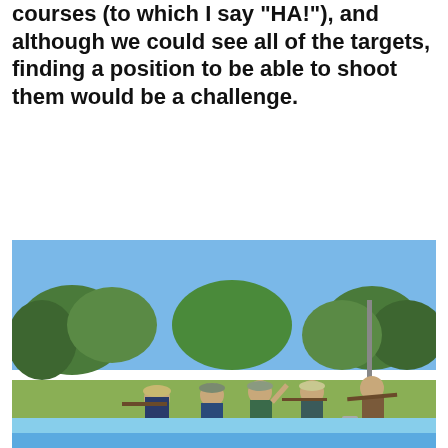courses (to which I say “HA!”), and although we could see all of the targets, finding a position to be able to shoot them would be a challenge.
[Figure (photo): Outdoor shooting range scene viewed from behind a fallen log. Several shooters in hats kneeling and shooting rifles toward distant targets. Green trees and blue sky in background. Red cooler and gas cylinder visible on right side. Foreground shows a large weathered fallen log with textured bark.]
Views of the sight in line
[Figure (photo): Partial view of second photo showing blue sky at bottom of page.]